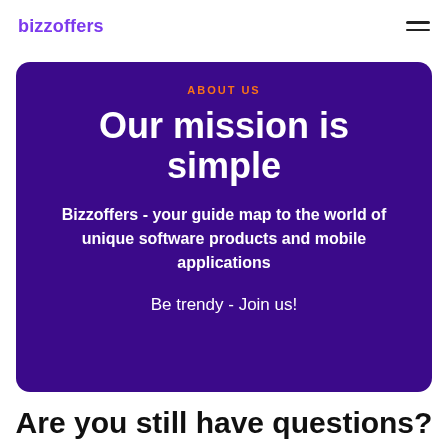bizzoffers
ABOUT US
Our mission is simple
Bizzoffers - your guide map to the world of unique software products and mobile applications
Be trendy - Join us!
Are you still have questions?